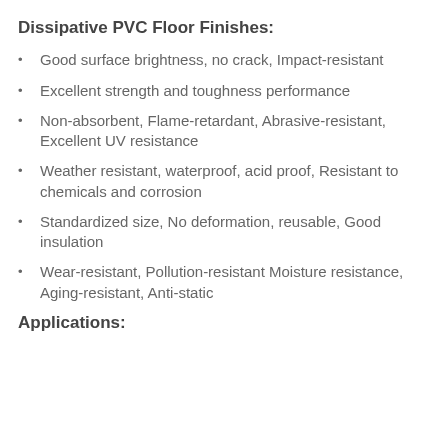Dissipative PVC Floor Finishes:
Good surface brightness, no crack, Impact-resistant
Excellent strength and toughness performance
Non-absorbent, Flame-retardant, Abrasive-resistant, Excellent UV resistance
Weather resistant, waterproof, acid proof, Resistant to chemicals and corrosion
Standardized size, No deformation, reusable, Good insulation
Wear-resistant, Pollution-resistant Moisture resistance, Aging-resistant, Anti-static
Applications: